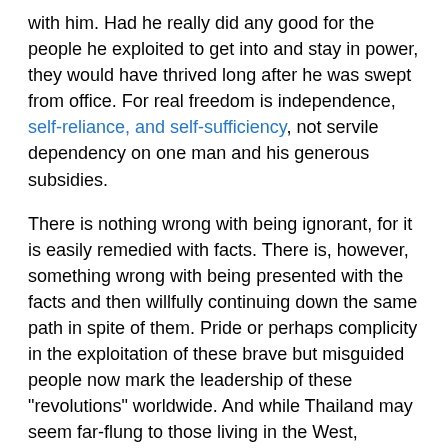with him. Had he really did any good for the people he exploited to get into and stay in power, they would have thrived long after he was swept from office. For real freedom is independence, self-reliance, and self-sufficiency, not servile dependency on one man and his generous subsidies.
There is nothing wrong with being ignorant, for it is easily remedied with facts. There is, however, something wrong with being presented with the facts and then willfully continuing down the same path in spite of them. Pride or perhaps complicity in the exploitation of these brave but misguided people now mark the leadership of these "revolutions" worldwide. And while Thailand may seem far-flung to those living in the West, Thailand's fall to the global-elite only empowers the very corporations currently lording over, and parasitically feeding on the nations of the West.
For more information on Thailand's foreign-fueled unrest, see "Globalists Fueling Unrest in Thailand."